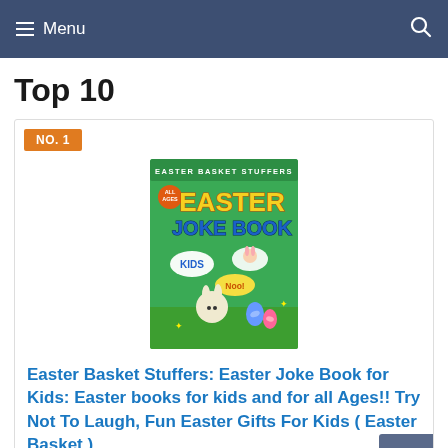Menu
Top 10
NO. 1
[Figure (illustration): Easter Joke Book for Kids book cover — green background with cartoon bunny, Easter eggs, and colorful title text reading 'Easter Basket Stuffers Easter Joke Book']
Easter Basket Stuffers: Easter Joke Book for Kids: Easter books for kids and for all Ages!! Try Not To Laugh, Fun Easter Gifts For Kids ( Easter Basket )
publicationPress, Sophie Smith (Author)